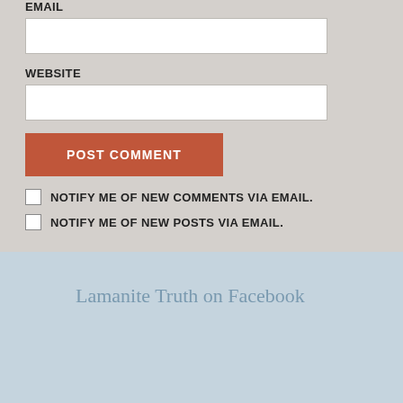EMAIL
WEBSITE
POST COMMENT
NOTIFY ME OF NEW COMMENTS VIA EMAIL.
NOTIFY ME OF NEW POSTS VIA EMAIL.
Lamanite Truth on Facebook